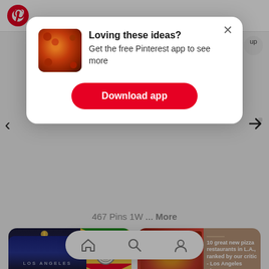[Figure (screenshot): Pinterest app popup overlay showing 'Loving these ideas? Get the free Pinterest app to see more' with Download app button, on a page showing board grids for Articles (111 Pins) and Dining Out (40 Pins)]
Loving these ideas?
Get the free Pinterest app to see more
Download app
467 Pins 1W ... More
Articles
111 Pins
Dining Out
40 Pins
10 great new pizza restaurants in L.A., ranked by our critic - Los Angeles Times